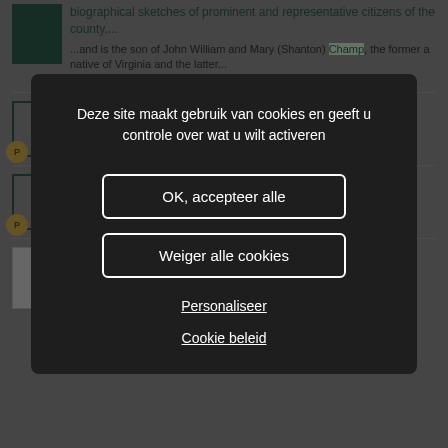biographical sketches of prominent and representative citizens of the county,...
...and is the son of John William and Mary (Shanton) Champ, the former a native of Virginia and the latter...
...about...mas
r L-
Généalogie et Histoire de la Caraïbe - n° 203
...x 28/07/1789 Vieux Fort. Luc Noël CHAMP. BOTREAU (voir Famille Galigny de Bonneval,
[Figure (screenshot): Modal dialog box on a genealogy website with dark background overlay. The modal contains text in Dutch: 'Deze site maakt gebruik van cookies en geeft u controle over wat u wilt activeren' with two buttons 'OK, accepteer alle' and 'Weiger alle cookies', and two underlined links 'Personaliseer' and 'Cookie beleid'.]